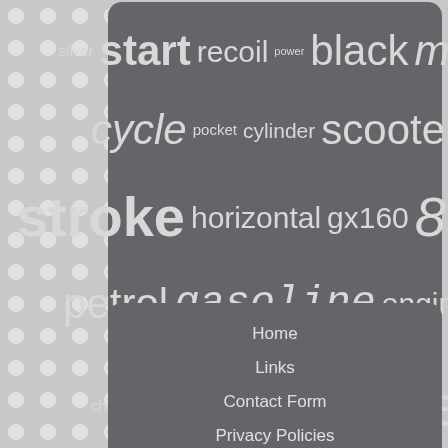[Figure (other): Word cloud with engine/motor related terms in varying sizes on a dark grey rounded rectangle background. Words include: silver, start, recoil, power, black, mini, cycle, pocket, cylinder, scooter, stroke, horizontal, gx160, 80cc, petrol, gasoline, engines, chainsaw, 2-stroke, engine, powered, pull, chain, bike, full, kart, 50cc, 4-stroke]
Home
Links
Contact Form
Privacy Policies
Service Agreement